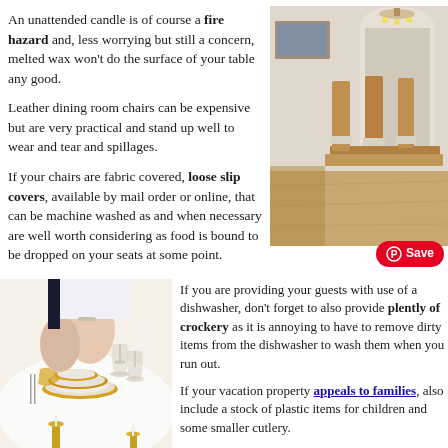An unattended candle is of course a fire hazard and, less worrying but still a concern, melted wax won't do the surface of your table any good.
[Figure (photo): Dining room with wooden chairs with white cushioned seats around a wooden table, chandelier overhead, archway in background]
Leather dining room chairs can be expensive but are very practical and stand up well to wear and tear and spillages.
If your chairs are fabric covered, loose slip covers, available by mail order or online, that can be machine washed as and when necessary are well worth considering as food is bound to be dropped on your seats at some point.
[Figure (photo): Hands setting a table with gold-rimmed plates, glasses and cutlery on a white tablecloth with golden candle holders]
If you are providing your guests with use of a dishwasher, don't forget to also provide plently of crockery as it is annoying to have to remove dirty items from the dishwasher to wash them when you run out.
If your vacation property appeals to families, also include a stock of plastic items for children and some smaller cutlery.
If your property boasts a pool, your guests will want crockery outside so again, some non-breakable 'glasses' and plates will be needed.